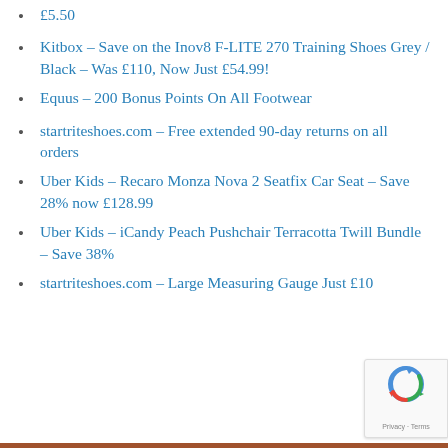£5.50
Kitbox – Save on the Inov8 F-LITE 270 Training Shoes Grey / Black – Was £110, Now Just £54.99!
Equus – 200 Bonus Points On All Footwear
startriteshoes.com – Free extended 90-day returns on all orders
Uber Kids – Recaro Monza Nova 2 Seatfix Car Seat – Save 28% now £128.99
Uber Kids – iCandy Peach Pushchair Terracotta Twill Bundle – Save 38%
startriteshoes.com – Large Measuring Gauge Just £10
Privacy · Terms